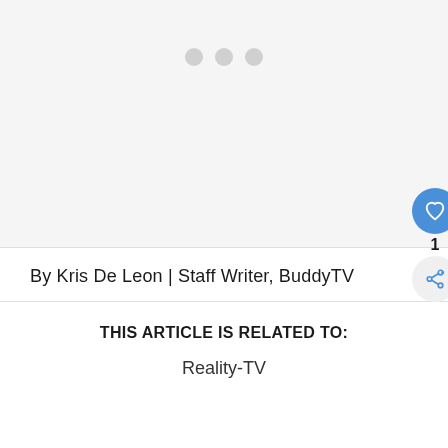[Figure (other): Loading placeholder image area with three grey dots centered near top, light grey background]
By Kris De Leon | Staff Writer, BuddyTV
THIS ARTICLE IS RELATED TO:
Reality-TV